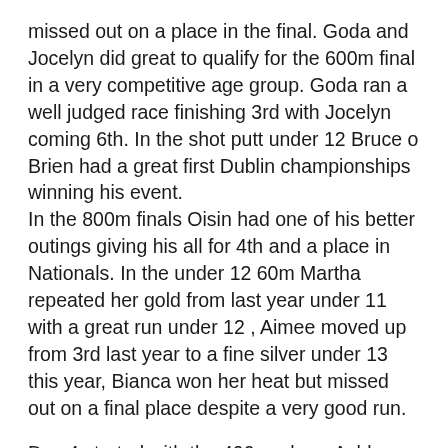missed out on a place in the final. Goda and Jocelyn did great to qualify for the 600m final in a very competitive age group. Goda ran a well judged race finishing 3rd with Jocelyn coming 6th. In the shot putt under 12 Bruce o Brien had a great first Dublin championships winning his event. In the 800m finals Oisin had one of his better outings giving his all for 4th and a place in Nationals. In the under 12 60m Martha repeated her gold from last year under 11 with a great run under 12 , Aimee moved up from 3rd last year to a fine silver under 13 this year, Bianca won her heat but missed out on a final place despite a very good run.
Day 4 started with the 400m where Ashley finished 4th in her race. The under 12 long jump was won by a delighted Alice in her first Dublin championship. Alice jumped 3m 86cm!.